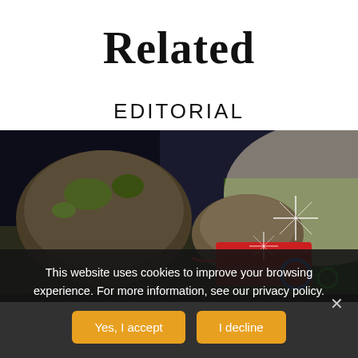Related
EDITORIAL
[Figure (photo): Outdoor photo showing mossy rocks and green vegetation on the ground, with a red object (possibly a bag or box) and colorful items visible, star-shaped lens flares on the right side.]
This website uses cookies to improve your browsing experience. For more information, see our privacy policy.
Yes, I accept
I decline